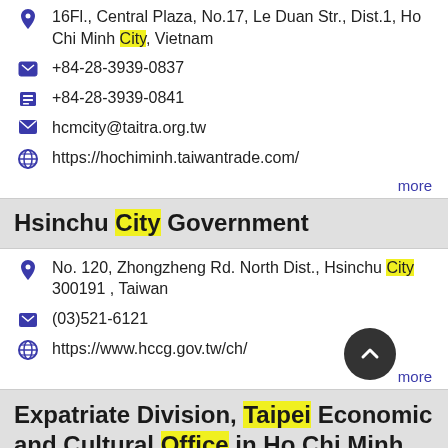16Fl., Central Plaza, No.17, Le Duan Str., Dist.1, Ho Chi Minh City, Vietnam
+84-28-3939-0837
+84-28-3939-0841
hcmcity@taitra.org.tw
https://hochiminh.taiwantrade.com/
more
Hsinchu City Government
No. 120, Zhongzheng Rd. North Dist., Hsinchu City 300191 , Taiwan
(03)521-6121
https://www.hccg.gov.tw/ch/
more
Expatriate Division, Taipei Economic and Cultural Office in Ho Chi Minh City,